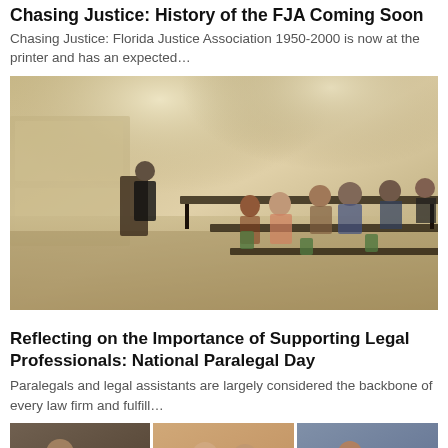Chasing Justice: History of the FJA Coming Soon
Chasing Justice: Florida Justice Association 1950-2000 is now at the printer and has an expected…
[Figure (photo): Conference room photo showing a speaker at a podium presenting to seated attendees at long tables in a hotel ballroom]
Reflecting on the Importance of Supporting Legal Professionals: National Paralegal Day
Paralegals and legal assistants are largely considered the backbone of every law firm and fulfill…
[Figure (photo): Three cropped photos side by side: left shows a man in suit with award, center shows two smiling women, right shows a man at a podium with Florida logo]